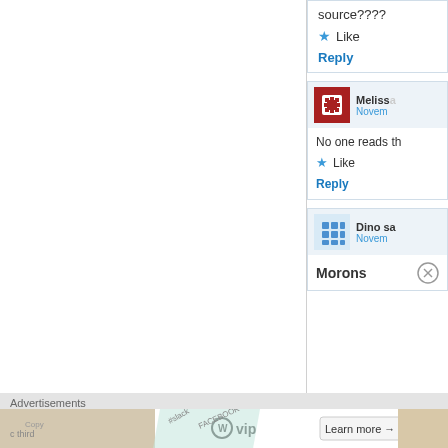source????
Like
Reply
Melissa
Novem
No one reads th
Like
Reply
Dino sa
Novem
Morons
Advertisements
[Figure (screenshot): WordPress VIP advertisement banner with slack and Facebook logos and Learn more button]